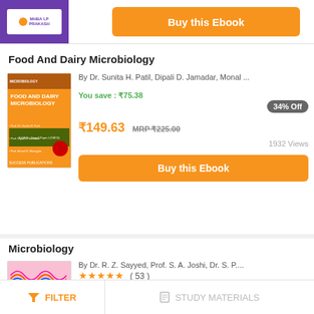[Figure (logo): Publisher logo with purple background]
Buy this Ebook
Food And Dairy Microbiology
[Figure (photo): Food And Dairy Microbiology book cover]
By Dr. Sunita H. Patil, Dipali D. Jamadar, Monal ...
You save : ₹75.38
34% Off
₹149.63 MRP ₹225.00
1932 Views
Buy this Ebook
Microbiology
[Figure (photo): Microbiology book cover with wave pattern]
By Dr. R. Z. Sayyed, Prof. S. A. Joshi, Dr. S. P....
★★★★★ ( 53 )
You save : ₹28.75
29% Off
FILTER
STUDY MATERIALS